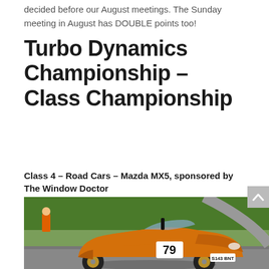decided before our August meetings. The Sunday meeting in August has DOUBLE points too!
Turbo Dynamics Championship – Class Championship
Class 4 – Road Cars – Mazda MX5, sponsored by The Window Doctor
[Figure (photo): An orange Mazda MX5 sports car with race number 79 and licence plate S143 BNT on a racing circuit. A marshal in an orange suit is visible in the background.]